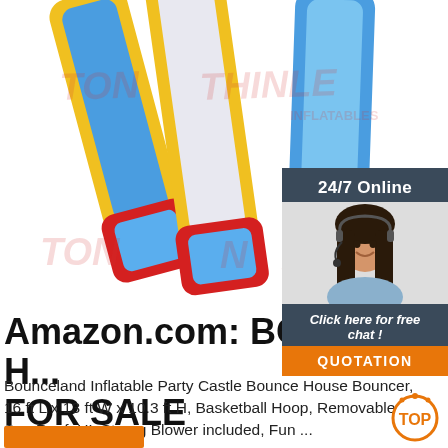[Figure (photo): Colorful inflatable bounce house slides with red, yellow, and blue colors, with TONLE THINLE INFLATABLES watermark text]
[Figure (infographic): 24/7 Online chat widget with a customer service woman wearing a headset, and a QUOTATION button in orange]
Amazon.com: BOUNCE H... FOR SALE
Bounceland Inflatable Party Castle Bounce House Bouncer, 16 ft L x 13 ft W x 10.3 ft H, Basketball Hoop, Removable Sun Roof, UL Strong Blower included, Fun ...